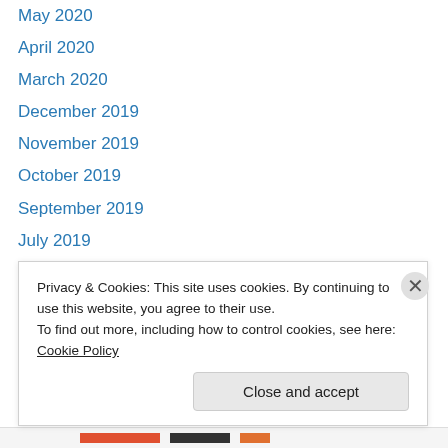May 2020
April 2020
March 2020
December 2019
November 2019
October 2019
September 2019
July 2019
March 2019
January 2019
December 2018
July 2018
May 2018
Privacy & Cookies: This site uses cookies. By continuing to use this website, you agree to their use. To find out more, including how to control cookies, see here: Cookie Policy
Close and accept